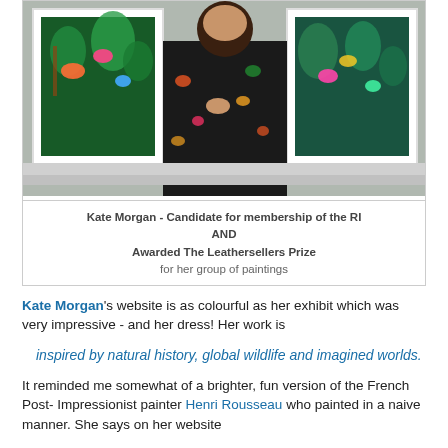[Figure (photo): Woman in floral dress standing in front of colorful tropical wildlife paintings in a gallery setting]
Kate Morgan - Candidate for membership of the RI AND Awarded The Leathersellers Prize for her group of paintings
Kate Morgan's website is as colourful as her exhibit which was very impressive - and her dress! Her work is
inspired by natural history, global wildlife and imagined worlds.
It reminded me somewhat of a brighter, fun version of the French Post- Impressionist painter Henri Rousseau who painted in a naive manner. She says on her website